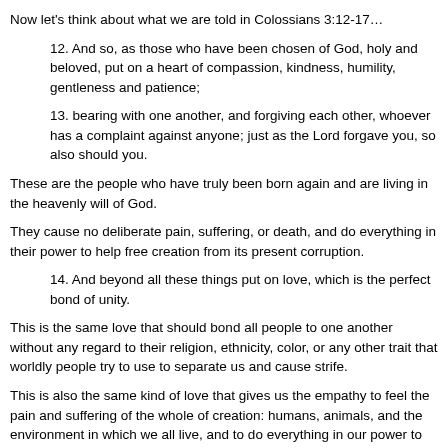Now let's think about what we are told in Colossians 3:12-17…
12. And so, as those who have been chosen of God, holy and beloved, put on a heart of compassion, kindness, humility, gentleness and patience;
13. bearing with one another, and forgiving each other, whoever has a complaint against anyone; just as the Lord forgave you, so also should you.
These are the people who have truly been born again and are living in the heavenly will of God.
They cause no deliberate pain, suffering, or death, and do everything in their power to help free creation from its present corruption.
14. And beyond all these things put on love, which is the perfect bond of unity.
This is the same love that should bond all people to one another without any regard to their religion, ethnicity, color, or any other trait that worldly people try to use to separate us and cause strife.
This is also the same kind of love that gives us the empathy to feel the pain and suffering of the whole of creation: humans, animals, and the environment in which we all live, and to do everything in our power to eliminate their pain and suffering.
This is the love that allows us to receive God's blessings and the inner understanding in our heart and soul so that we continuously praise God's blessings.